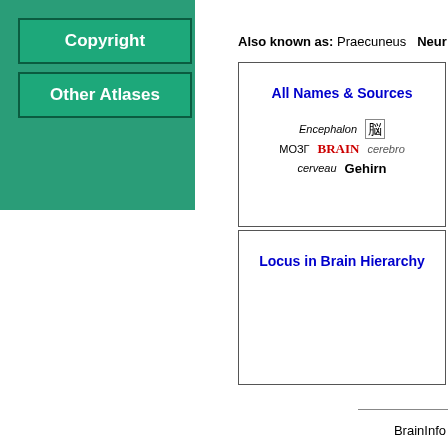Copyright
Other Atlases
Also known as: Praecuneus   Neur…
All Names & Sources
[Figure (other): Brain terminology in multiple languages and scripts: Encephalon (italic), kanji symbol, МОЗГ, BRAIN (red bold), cerebro (italic), cerveau (italic), Gehirn (bold)]
Locus in Brain Hierarchy
BrainInfo